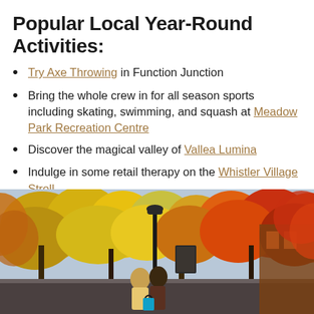Popular Local Year-Round Activities:
Try Axe Throwing in Function Junction
Bring the whole crew in for all season sports including skating, swimming, and squash at Meadow Park Recreation Centre
Discover the magical valley of Vallea Lumina
Indulge in some retail therapy on the Whistler Village Stroll
[Figure (photo): Two women looking at something together on an autumn street scene in Whistler Village, surrounded by yellow, orange, and red fall foliage trees, with a street lamp and mountain visible in background]